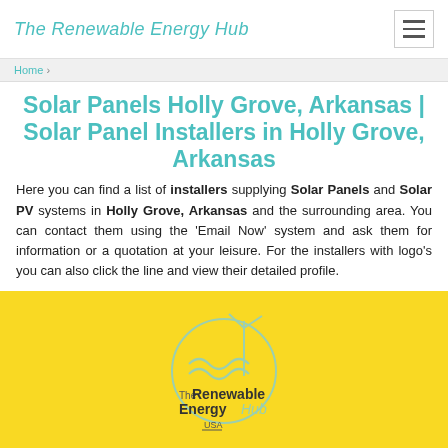The Renewable Energy Hub
Home >
Solar Panels Holly Grove, Arkansas | Solar Panel Installers in Holly Grove, Arkansas
Here you can find a list of installers supplying Solar Panels and Solar PV systems in Holly Grove, Arkansas and the surrounding area. You can contact them using the 'Email Now' system and ask them for information or a quotation at your leisure. For the installers with logo's you can also click the line and view their detailed profile.
[Figure (logo): The Renewable Energy Hub USA logo on yellow background]